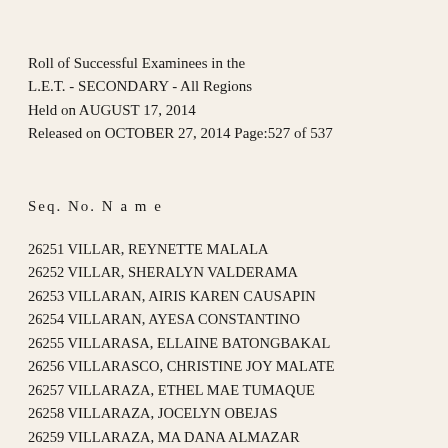Roll of Successful Examinees in the L.E.T. - SECONDARY - All Regions Held on AUGUST 17, 2014 Released on OCTOBER 27, 2014 Page:527 of 537
Seq. No. N a m e
26251 VILLAR, REYNETTE MALALA
26252 VILLAR, SHERALYN VALDERAMA
26253 VILLARAN, AIRIS KAREN CAUSAPIN
26254 VILLARAN, AYESA CONSTANTINO
26255 VILLARASA, ELLAINE BATONGBAKAL
26256 VILLARASCO, CHRISTINE JOY MALATE
26257 VILLARAZA, ETHEL MAE TUMAQUE
26258 VILLARAZA, JOCELYN OBEJAS
26259 VILLARAZA, MA DANA ALMAZAR
26260 VILLARBA, BRAYN RINCAL
26261 VILLARBA, JOSEPH CHRISTIAN SALAZAR